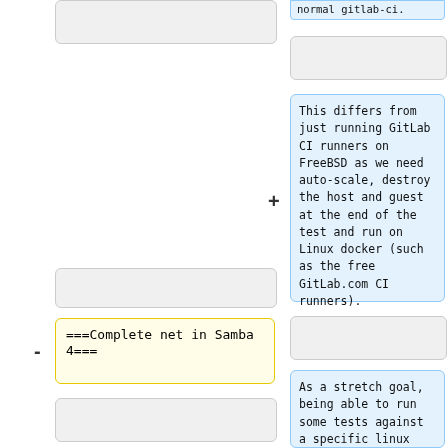normal gitlab-ci.
This differs from just running GitLab CI runners on FreeBSD as we need auto-scale, destroy the host and guest at the end of the test and run on Linux docker (such as the free GitLab.com CI runners).
===Complete net in Samba 4===
As a stretch goal, being able to run some tests against a specific linux kernel